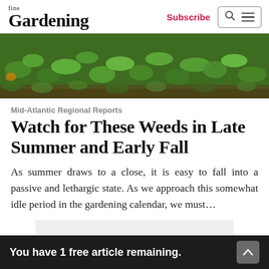fine Gardening — Subscribe [search] [menu]
[Figure (photo): Close-up photo of green leafy weeds/groundcover plants, small clover-like leaves, garden ground level view]
Mid-Atlantic Regional Reports
Watch for These Weeds in Late Summer and Early Fall
As summer draws to a close, it is easy to fall into a passive and lethargic state. As we approach this somewhat idle period in the gardening calendar, we must…
You have 1 free article remaining.